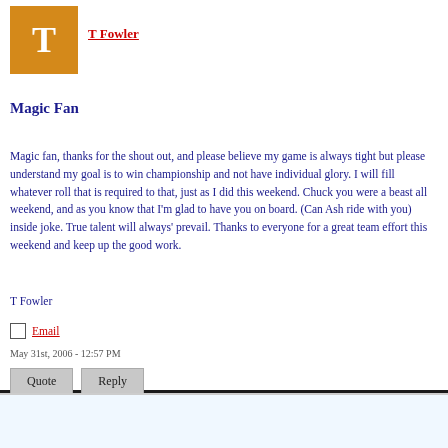[Figure (illustration): Orange avatar square with white letter T for user T Fowler]
T Fowler
Magic Fan
Magic fan, thanks for the shout out, and please believe my game is always tight but please understand my goal is to win championship and not have individual glory. I will fill whatever roll that is required to that, just as I did this weekend. Chuck you were a beast all weekend, and as you know that I'm glad to have you on board. (Can Ash ride with you) inside joke. True talent will always' prevail. Thanks to everyone for a great team effort this weekend and keep up the good work.
T Fowler
Email
May 31st, 2006 - 12:57 PM
Quote  Reply
[Figure (illustration): Blue avatar square with white letter M for user MO SMITH]
MO SMITH
Re: Magic Fan